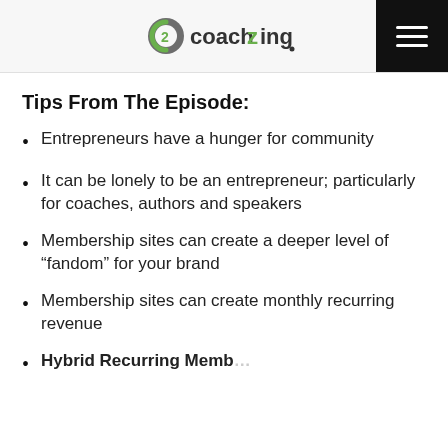coachzing
Tips From The Episode:
Entrepreneurs have a hunger for community
It can be lonely to be an entrepreneur; particularly for coaches, authors and speakers
Membership sites can create a deeper level of “fandom” for your brand
Membership sites can create monthly recurring revenue
Hybrid Recurring Membership...